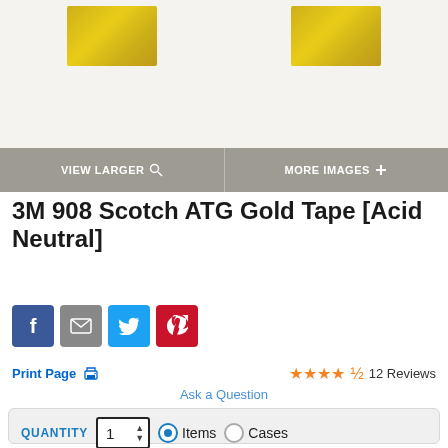[Figure (photo): Product image area showing partially visible gold tape rolls on light beige background]
VIEW LARGER 🔍   MORE IMAGES +
3M 908 Scotch ATG Gold Tape [Acid Neutral]
[Figure (infographic): Social sharing buttons: Facebook, Email, Twitter, Pinterest]
Print Page 🖨   ★★★★½  12 Reviews
Ask a Question
QUANTITY  1  ● Items  ○ Cases  View "Full Pricing Table" below for details including case sizes and volume pricing.